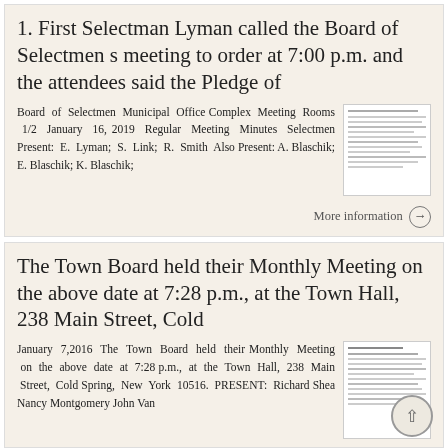1. First Selectman Lyman called the Board of Selectmen s meeting to order at 7:00 p.m. and the attendees said the Pledge of
Board of Selectmen Municipal Office Complex Meeting Rooms 1/2 January 16, 2019 Regular Meeting Minutes Selectmen Present: E. Lyman; S. Link; R. Smith Also Present: A. Blaschik; E. Blaschik; K. Blaschik;
More information
The Town Board held their Monthly Meeting on the above date at 7:28 p.m., at the Town Hall, 238 Main Street, Cold
January 7,2016 The Town Board held their Monthly Meeting on the above date at 7:28 p.m., at the Town Hall, 238 Main Street, Cold Spring, New York 10516. PRESENT: Richard Shea Nancy Montgomery John Van